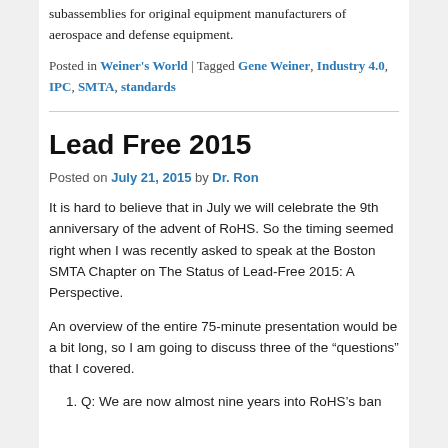subassemblies for original equipment manufacturers of aerospace and defense equipment.
Posted in Weiner's World | Tagged Gene Weiner, Industry 4.0, IPC, SMTA, standards
Lead Free 2015
Posted on July 21, 2015 by Dr. Ron
It is hard to believe that in July we will celebrate the 9th anniversary of the advent of RoHS. So the timing seemed right when I was recently asked to speak at the Boston SMTA Chapter on The Status of Lead-Free 2015: A Perspective.
An overview of the entire 75-minute presentation would be a bit long, so I am going to discuss three of the “questions” that I covered.
Q: We are now almost nine years into RoHS’s ban